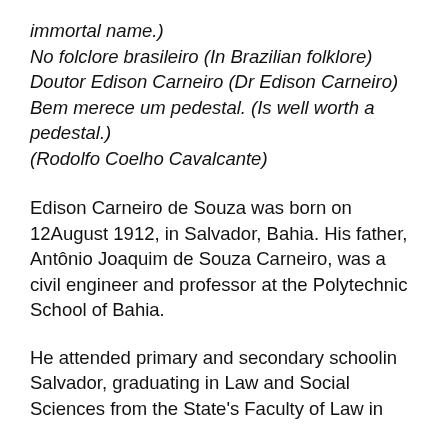immortal name.)
No folclore brasileiro (In Brazilian folklore)
Doutor Edison Carneiro (Dr Edison Carneiro)
Bem merece um pedestal. (Is well worth a pedestal.)
(Rodolfo Coelho Cavalcante)
Edison Carneiro de Souza was born on 12August 1912, in Salvador, Bahia. His father, Antônio Joaquim de Souza Carneiro, was a civil engineer and professor at the Polytechnic School of Bahia.
He attended primary and secondary schoolin Salvador, graduating in Law and Social Sciences from the State's Faculty of Law in